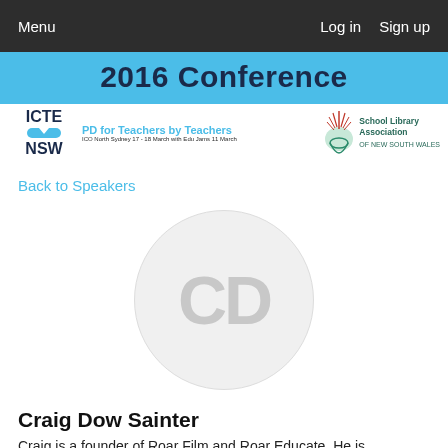Menu   Log in   Sign up
[Figure (infographic): 2016 Conference banner with ICTE NSW logo, 'PD for Teachers by Teachers' tagline, and School Library Association of New South Wales logo on a blue and white background]
Back to Speakers
[Figure (illustration): Circular avatar placeholder showing initials 'CD' in large grey letters on a light grey circle]
Craig Dow Sainter
Craig is a founder of Roar Film and Roar Educate. He is